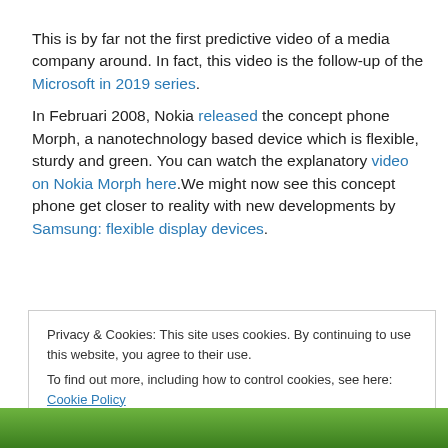This is by far not the first predictive video of a media company around. In fact, this video is the follow-up of the Microsoft in 2019 series.

In Februari 2008, Nokia released the concept phone Morph, a nanotechnology based device which is flexible, sturdy and green. You can watch the explanatory video on Nokia Morph here.We might now see this concept phone get closer to reality with new developments by Samsung: flexible display devices.
Privacy & Cookies: This site uses cookies. By continuing to use this website, you agree to their use.
To find out more, including how to control cookies, see here: Cookie Policy
Close and accept
[Figure (photo): Bottom portion of image showing green Nokia Morph concept phone device]